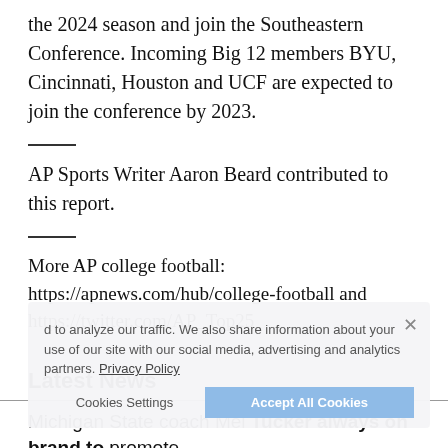the 2024 season and join the Southeastern Conference. Incoming Big 12 members BYU, Cincinnati, Houston and UCF are expected to join the conference by 2023.
AP Sports Writer Aaron Beard contributed to this report.
More AP college football: https://apnews.com/hub/college-football and https://twitter.com/AP_Top25
We also share information about your use of our site with our social media, advertising and analytics partners. Privacy Policy
Latest News
Michigan State coach Mel Tucker always on brand to promote